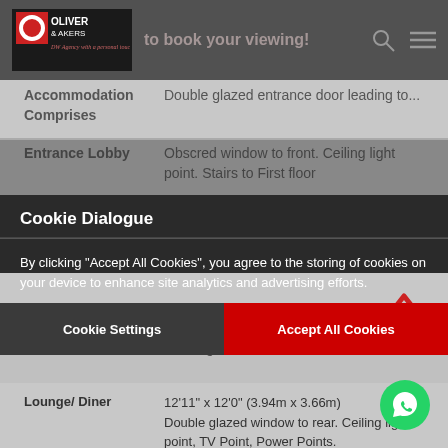Oliver & Akers - to book your viewing!
Accommodation Comprises	Double glazed entrance door leading to...
Entrance Lobby	Obscred window to front. Ceiling light point. Stairs to First floor
Cookie Dialogue
By clicking "Accept All Cookies", you agree to the storing of cookies on your device to enhance site analytics and advertising efforts.
Cookie Settings	Accept All Cookies
Stairs to all rooms...	Landing...to loft. Door to...
Lounge/ Diner	12'11" x 12'0" (3.94m x 3.66m)
Double glazed window to rear. Ceiling light point, TV Point, Power Points.